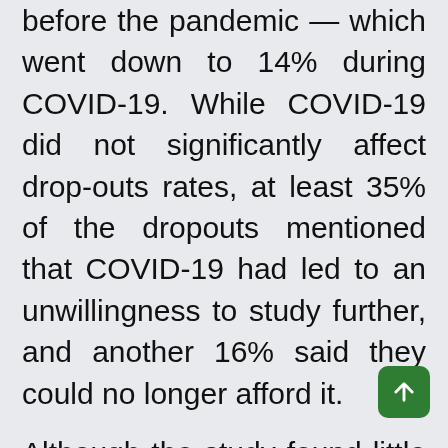before the pandemic — which went down to 14% during COVID-19. While COVID-19 did not significantly affect drop-outs rates, at least 35% of the dropouts mentioned that COVID-19 had led to an unwillingness to study further, and another 16% said they could no longer afford it.
Although the study found little variation in the rate of early marriage before and after the pandemic, nearly 50% of the parents said that their decision to marry off their